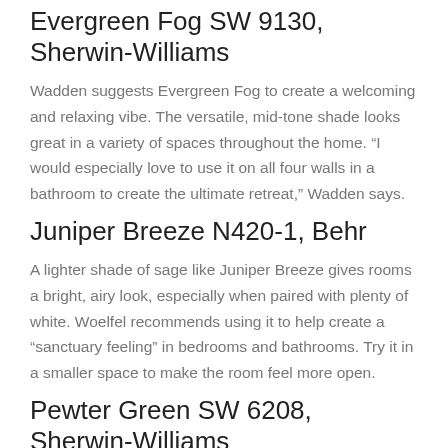Evergreen Fog SW 9130, Sherwin-Williams
Wadden suggests Evergreen Fog to create a welcoming and relaxing vibe. The versatile, mid-tone shade looks great in a variety of spaces throughout the home. “I would especially love to use it on all four walls in a bathroom to create the ultimate retreat,” Wadden says.
Juniper Breeze N420-1, Behr
A lighter shade of sage like Juniper Breeze gives rooms a bright, airy look, especially when paired with plenty of white. Woelfel recommends using it to help create a “sanctuary feeling” in bedrooms and bathrooms. Try it in a smaller space to make the room feel more open.
Pewter Green SW 6208, Sherwin-Williams
Pewter Green is a deep, saturated version of sage